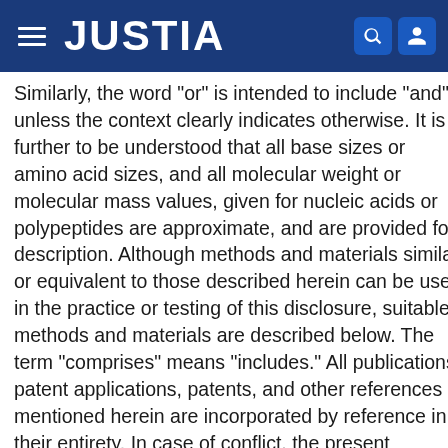JUSTIA
Similarly, the word "or" is intended to include "and" unless the context clearly indicates otherwise. It is further to be understood that all base sizes or amino acid sizes, and all molecular weight or molecular mass values, given for nucleic acids or polypeptides are approximate, and are provided for description. Although methods and materials similar or equivalent to those described herein can be used in the practice or testing of this disclosure, suitable methods and materials are described below. The term “comprises” means “includes.” All publications, patent applications, patents, and other references mentioned herein are incorporated by reference in their entirety. In case of conflict, the present specification, including explanations of terms, will control. In addition, the materials, methods, and examples are illustrative only and not intended to be limiting.